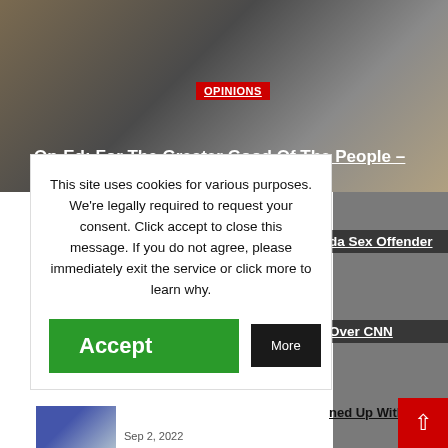[Figure (photo): Bronze or stone statue of a figure holding an object, against a blurred background]
OPINIONS
Op-Ed: For The Greater Good Of The People – America Needs To Pay Attention...
This site uses cookies for various purposes. We're legally required to request your consent. Click accept to close this message. If you do not agree, please immediately exit the service or click more to learn why.
Accept
More
da Sex Offender
Over CNN
ned Up With S
[Figure (photo): Small thumbnail image at bottom left]
Sep 2, 2022